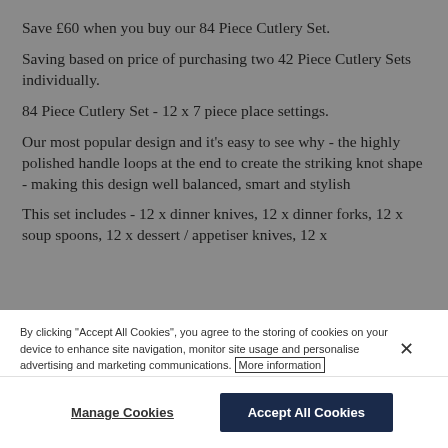Save £60 when you buy our 84 Piece Cutlery Set.
Saving based on price of purchasing two 42 Piece Cutlery Sets individually.
84 Piece Cutlery Set - 12 x 7 piece place settings.
Our most popular design and it's easy to see why - the highly polished handle loops at the end to create the striking knot shape - making this design well balanced, smart and stylish
This set includes - 12 x dinner knives, 12 x dinner forks, 12 x soup spoons, 12 x dessert / appetiser knives, 12 x
By clicking "Accept All Cookies", you agree to the storing of cookies on your device to enhance site navigation, monitor site usage and personalise advertising and marketing communications. More information
Manage Cookies
Accept All Cookies